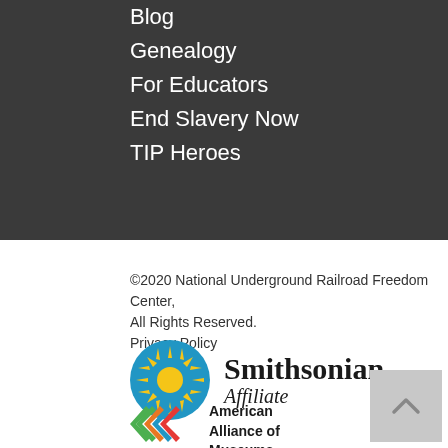Blog
Genealogy
For Educators
End Slavery Now
TIP Heroes
©2020 National Underground Railroad Freedom Center, All Rights Reserved.
Privacy Policy
[Figure (logo): Smithsonian Affiliate logo: blue circle with yellow sun, text 'Smithsonian Affiliate']
[Figure (logo): American Alliance of Museums logo: colorful overlapping diamond shapes, text 'American Alliance of Museums']